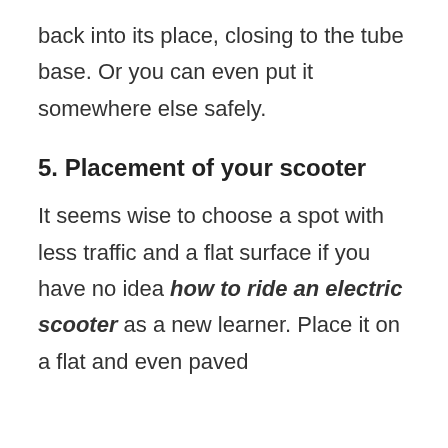back into its place, closing to the tube base. Or you can even put it somewhere else safely.
5. Placement of your scooter
It seems wise to choose a spot with less traffic and a flat surface if you have no idea how to ride an electric scooter as a new learner. Place it on a flat and even paved